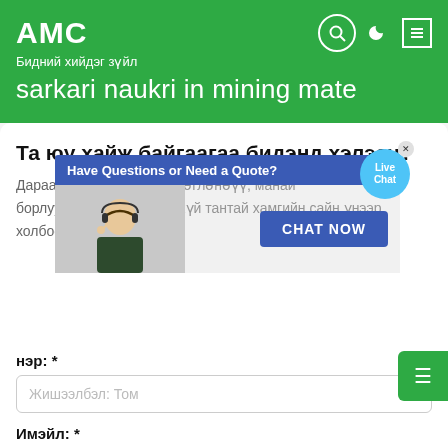АМС
Бидний хийдэг зүйл
sarkari naukri in mining mate
Та юу хайж байгаагаа бидэнд хэлээч?
Дараах маягтыг бөглөж бөглөнөүү, манай борлуулалтын хэлтэс нь хүй тантай хамгийн сайн үнээр холбоо барих болно.
[Figure (screenshot): Live chat popup with 'Have Questions or Need a Quote?' banner in blue, a customer service representative image, 'CHAT NOW' button, and 'Live Chat' speech bubble icon with close X button.]
нэр: *
Жишээлбэл: Том
Имэйл: *
Жишээлбэл: contact@shanghaimeilan.com
Утас: *